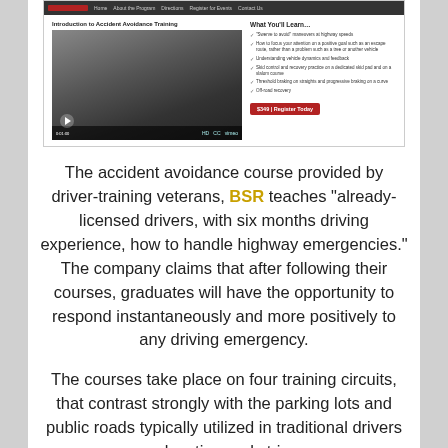[Figure (screenshot): Screenshot of a driving training website showing 'Introduction to Accident Avoidance Training' page with a black and white video thumbnail of a person driving, and a 'What You'll Learn...' checklist on the right including items about swerving, focus, vehicle dynamics, skid control, threshold braking, and off-road recovery. A red 'Register Today' button is visible.]
The accident avoidance course provided by driver-training veterans, BSR teaches "already-licensed drivers, with six months driving experience, how to handle highway emergencies." The company claims that after following their courses, graduates will have the opportunity to respond instantaneously and more positively to any driving emergency.
The courses take place on four training circuits, that contrast strongly with the parking lots and public roads typically utilized in traditional drivers education and strive